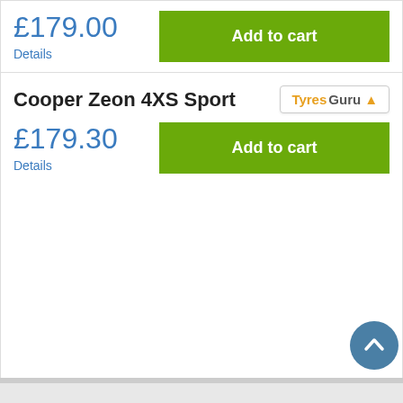£179.00
Details
Add to cart
Cooper Zeon 4XS Sport
Tyres Guru
£179.30
Details
Add to cart
We use cookies to personalize content and ads, provide social media features, and analyze traffic. In addition, we provide social media, advertising, and analytics partners with information about how you use our website. If you continue to use our website, you agree to our cookies.
Edit setting
Accept